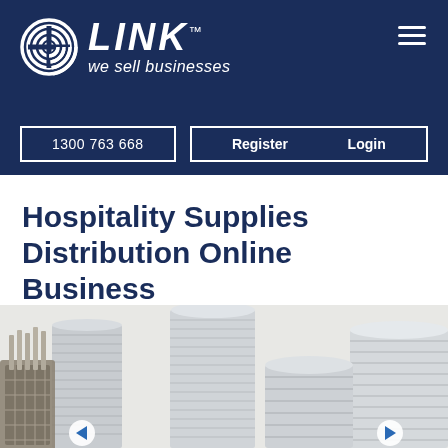LINK™ — we sell businesses | 1300 763 668 | Register | Login
Hospitality Supplies Distribution Online Business
[Figure (photo): Stacked white ceramic plates and bowls along with metal cutlery holders, viewed from the side, against a white background — hospitality tableware supplies.]